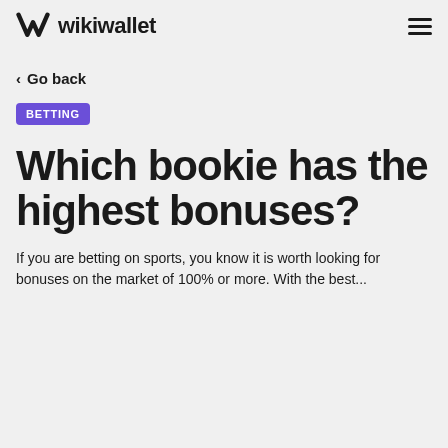wikiwallet
< Go back
BETTING
Which bookie has the highest bonuses?
If you are betting on sports, you know it is worth looking for bonuses on the market of 100% or more. With the best…